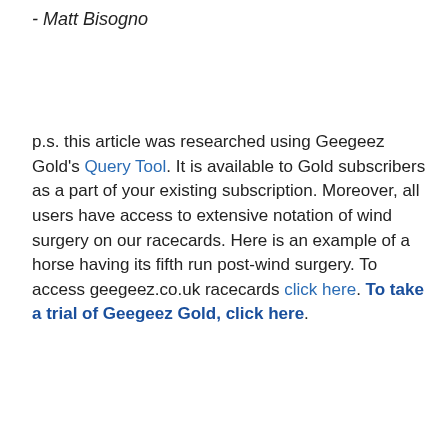- Matt Bisogno
p.s. this article was researched using Geegeez Gold's Query Tool. It is available to Gold subscribers as a part of your existing subscription. Moreover, all users have access to extensive notation of wind surgery on our racecards. Here is an example of a horse having its fifth run post-wind surgery. To access geegeez.co.uk racecards click here. To take a trial of Geegeez Gold, click here.